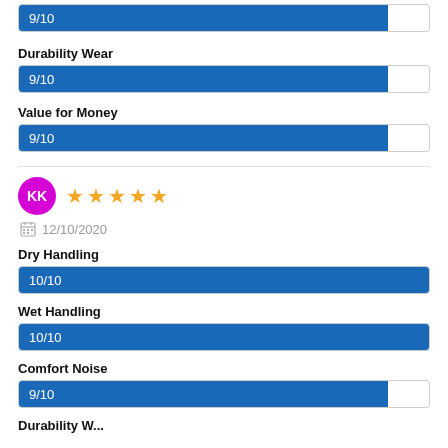[Figure (bar-chart): top bar 9/10]
Durability Wear
[Figure (bar-chart): Durability Wear]
Value for Money
[Figure (bar-chart): Value for Money]
KK ★★★★★ 12/10/2020
Dry Handling
[Figure (bar-chart): Dry Handling]
Wet Handling
[Figure (bar-chart): Wet Handling]
Comfort Noise
[Figure (bar-chart): Comfort Noise]
Durability W...